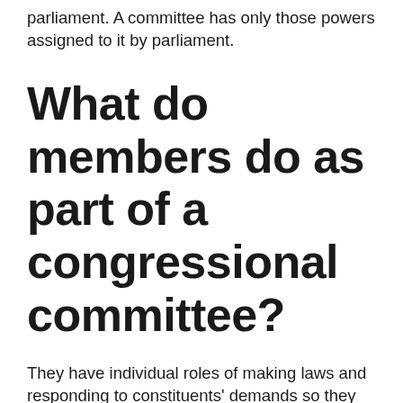parliament. A committee has only those powers assigned to it by parliament.
What do members do as part of a congressional committee?
They have individual roles of making laws and responding to constituents' demands so they balance national concerns against the specific interest of their State/district. They decide which measures will go on floor consideration. The evaluate bills and are